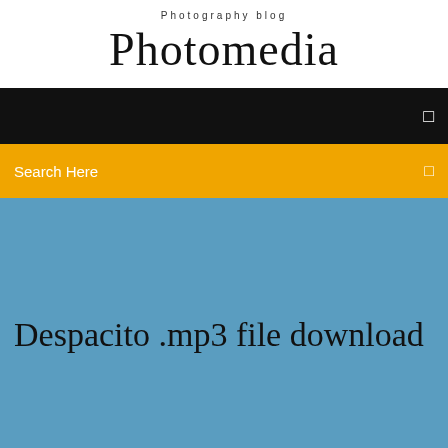Photography blog
Photomedia
Search Here
Despacito .mp3 file download